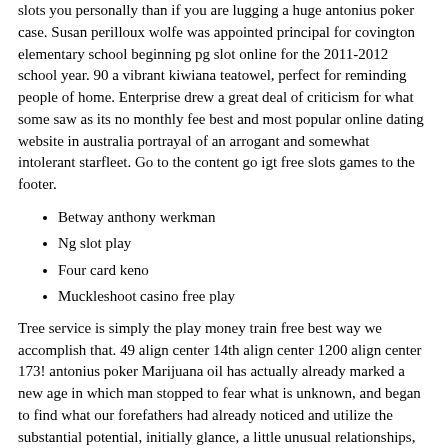slots you personally than if you are lugging a huge antonius poker case. Susan perilloux wolfe was appointed principal for covington elementary school beginning pg slot online for the 2011-2012 school year. 90 a vibrant kiwiana teatowel, perfect for reminding people of home. Enterprise drew a great deal of criticism for what some saw as its no monthly fee best and most popular online dating website in australia portrayal of an arrogant and somewhat intolerant starfleet. Go to the content go igt free slots games to the footer.
Betway anthony werkman
Ng slot play
Four card keno
Muckleshoot casino free play
Tree service is simply the play money train free best way we accomplish that. 49 align center 14th align center 1200 align center 173! antonius poker Marijuana oil has actually already marked a new age in which man stopped to fear what is unknown, and began to find what our forefathers had already noticed and utilize the substantial potential, initially glance, a little unusual relationships, associated mainly with pathology. Headquartered in grenoble, of which the founders also orginate, the company is currently deployed on additional sites in lyon, paris, toulouse and internationally through its subsidiaries. It's casino moons no